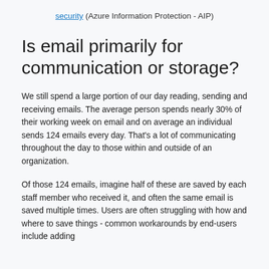security (Azure Information Protection - AIP)
Is email primarily for communication or storage?
We still spend a large portion of our day reading, sending and receiving emails. The average person spends nearly 30% of their working week on email and on average an individual sends 124 emails every day. That's a lot of communicating throughout the day to those within and outside of an organization.
Of those 124 emails, imagine half of these are saved by each staff member who received it, and often the same email is saved multiple times. Users are often struggling with how and where to save things - common workarounds by end-users include adding